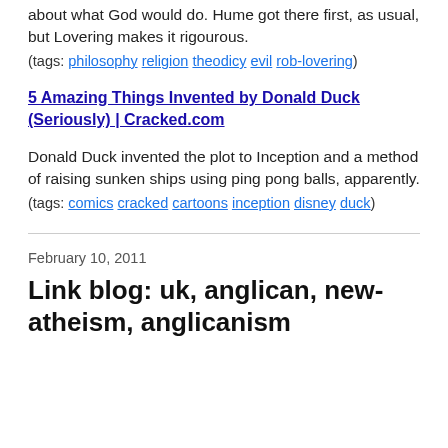about what God would do. Hume got there first, as usual, but Lovering makes it rigourous.
(tags: philosophy religion theodicy evil rob-lovering)
5 Amazing Things Invented by Donald Duck (Seriously) | Cracked.com
Donald Duck invented the plot to Inception and a method of raising sunken ships using ping pong balls, apparently.
(tags: comics cracked cartoons inception disney duck)
February 10, 2011
Link blog: uk, anglican, new-atheism, anglicanism